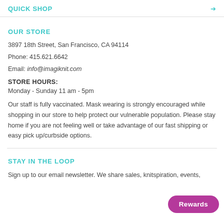QUICK SHOP
OUR STORE
3897 18th Street, San Francisco, CA 94114
Phone: 415.621.6642
Email: info@imagiknit.com
STORE HOURS:
Monday - Sunday 11 am - 5pm
Our staff is fully vaccinated. Mask wearing is strongly encouraged while shopping in our store to help protect our vulnerable population. Please stay home if you are not feeling well or take advantage of our fast shipping or easy pick up/curbside options.
STAY IN THE LOOP
Sign up to our email newsletter. We share sales, knitspiration, events,